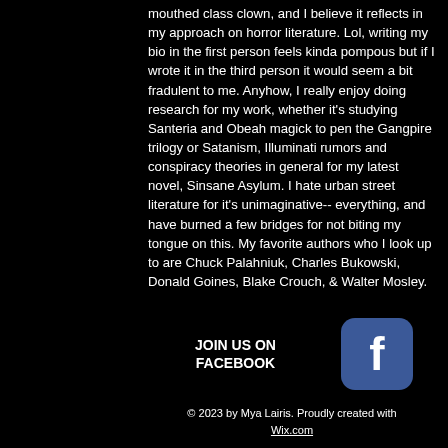mouthed class clown, and I believe it reflects in my approach on horror literature. Lol, writing my bio in the first person feels kinda pompous but if I wrote it in the third person it would seem a bit fradulent to me. Anyhow, I really enjoy doing research for my work, whether it's studying Santeria and Obeah magick to pen the Gangpire trilogy or Satanism, Illuminati rumors and conspiracy theories in general for my latest novel, Sinsane Asylum. I hate urban street literature for it's unimaginative-- everything, and have burned a few bridges for not biting my tongue on this. My favorite authors who I look up to are Chuck Palahniuk, Charles Bukowski, Donald Goines, Blake Crouch, & Walter Mosley.
JOIN US ON FACEBOOK
[Figure (logo): Facebook logo icon - rounded square blue button with white 'f']
© 2023 by Mya Lairis. Proudly created with Wix.com